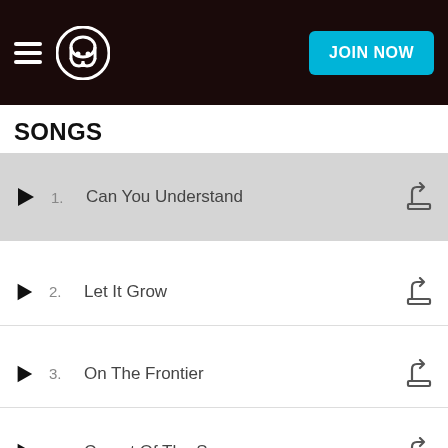Napster — JOIN NOW
SONGS
1. Can You Understand
2. Let It Grow
3. On The Frontier
4. Carpet Of The Sun